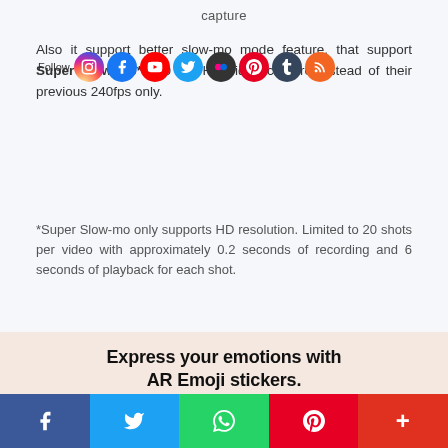capture
Also it support better slow-mo mode feature, that support Super Slow-mo* 960 fpd HD video capture instead of their previous 240fps only.
*Super Slow-mo only supports HD resolution. Limited to 20 shots per video with approximately 0.2 seconds of recording and 6 seconds of playback for each shot.
[Figure (illustration): AR Emoji stickers promotional image showing animated face stickers with text 'Express your emotions with AR Emoji stickers.']
Social share bar: Facebook, Twitter, WhatsApp, Pinterest, More